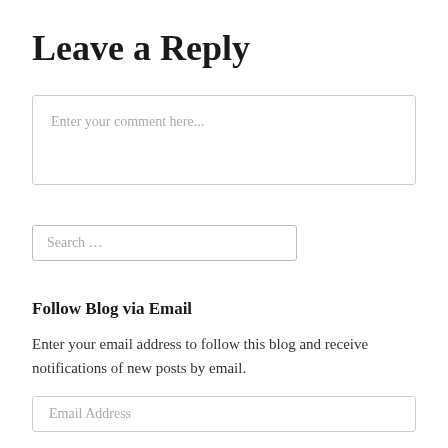Leave a Reply
[Figure (other): Comment text input box with placeholder text 'Enter your comment here...']
[Figure (other): Search input box with placeholder text 'Search …']
Follow Blog via Email
Enter your email address to follow this blog and receive notifications of new posts by email.
[Figure (other): Email address input box with placeholder text 'Email Address']